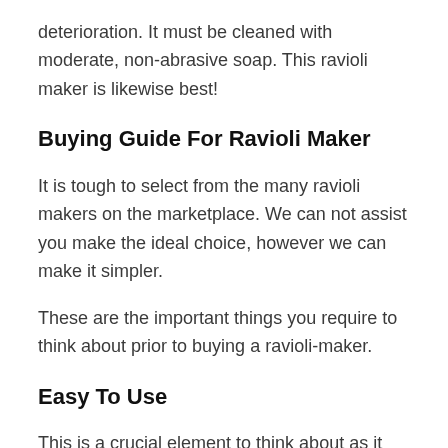deterioration. It must be cleaned with moderate, non-abrasive soap. This ravioli maker is likewise best!
Buying Guide For Ravioli Maker
It is tough to select from the many ravioli makers on the marketplace. We can not assist you make the ideal choice, however we can make it simpler.
These are the important things you require to think about prior to buying a ravioli-maker.
Easy To Use
This is a crucial element to think about as it will affect your life long after you have actually bought the item. It's not an excellent concept to make ravioli from